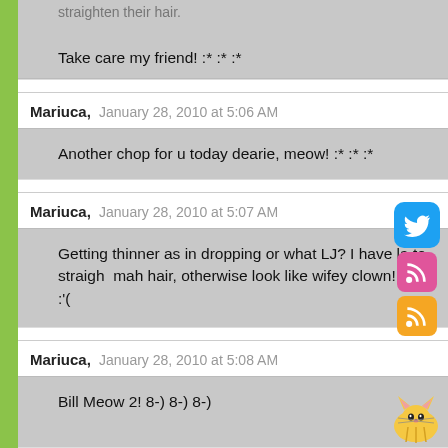straighten their hair.
Take care my friend! :* :* :*
Mariuca,  January 28, 2010 at 5:06 AM
Another chop for u today dearie, meow! :* :* :*
Mariuca,  January 28, 2010 at 5:07 AM
Getting thinner as in dropping or what LJ? I have la to straighten mah hair, otherwise look like wifey clown! :'( :'( :'(
Mariuca,  January 28, 2010 at 5:08 AM
Bill Meow 2! 8-) 8-) 8-)
Mariuca,  January 28, 2010 at 5:08 AM
And Purr Meow 3! :* :* :*